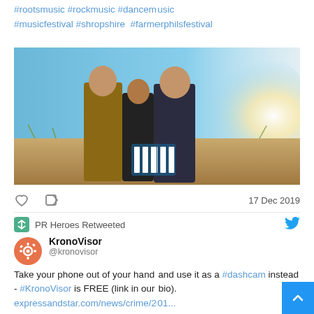#rootsmusic #rockmusic #dancemusic #musicfestival #shropshire #farmerphilsfestival
[Figure (photo): Three people standing together outdoors in bright sunlight with blue sky background, casual group photo]
17 Dec 2019
PR Heroes Retweeted
KronoVisor @kronovisor — Take your phone out of your hand and use it as a #dashcam instead - #KronoVisor is FREE (link in our bio). expressandstar.com/news/crime/201...